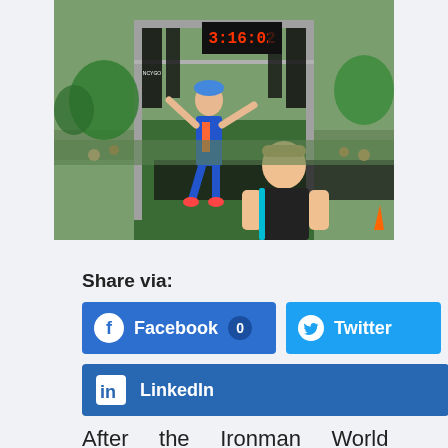[Figure (photo): A triathlete in a blue and orange racing suit with arms raised celebrates crossing the finish line at a triathlon event. The finish line gantry shows a digital clock reading 3:16:02, with race banners on both sides. Another athlete in a black sleeveless shirt is visible in the foreground. Spectators and finish line infrastructure visible in the background.]
Share via:
Facebook 0
Twitter
LinkedIn
After     the     Ironman     World